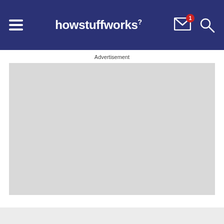howstuffworks
Advertisement
[Figure (other): Grey advertisement placeholder box]
[Figure (other): Partial image strip at bottom of page]